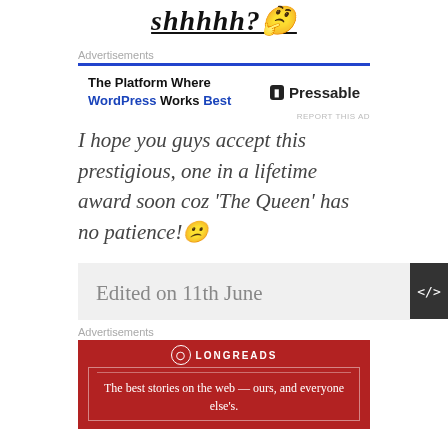shhhhh?🤔
Advertisements
[Figure (infographic): Pressable advertisement: The Platform Where WordPress Works Best]
REPORT THIS AD
I hope you guys accept this prestigious, one in a lifetime award soon coz 'The Queen' has no patience!😕
Edited on 11th June
Advertisements
[Figure (infographic): Longreads advertisement: The best stories on the web — ours, and everyone else's.]